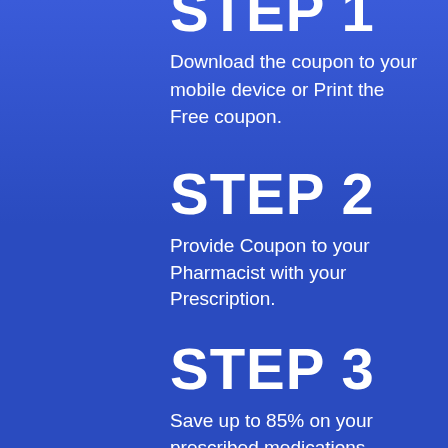STEP 1
Download the coupon to your mobile device or Print the Free coupon.
STEP 2
Provide Coupon to your Pharmacist with your Prescription.
STEP 3
Save up to 85% on your prescribed medications.